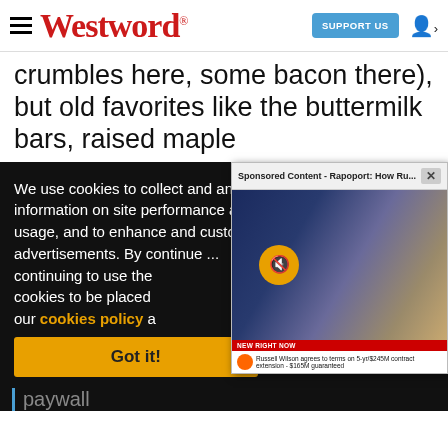Westword SUPPORT US
crumbles here, some bacon there), but old favorites like the buttermilk bars, raised maple
We use cookies to collect and analyze information on site performance and usage, and to enhance and customize content and advertisements. By continuing to use the site, you agree to allow cookies to be placed. To find out more, visit our cookies policy a
[Figure (screenshot): Sponsored Content popup showing 'Sponsored Content - Rapoport: How Ru...' with a video of a sports news anchor, mute button, and NFL ticker showing 'Russell Wilson agrees to terms on 5-yr/$245M contract extension - $165M guaranteed']
Got it!
g us
paywall